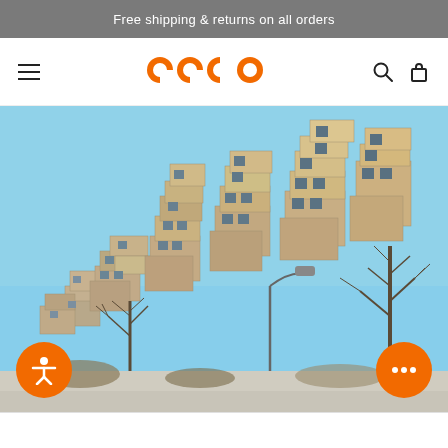Free shipping & returns on all orders
[Figure (logo): Orange circular logo with pac-man like shapes forming GCCO brand mark]
[Figure (photo): Photo of Habitat 67 modular concrete apartment building in Montreal against a blue sky with bare trees in foreground]